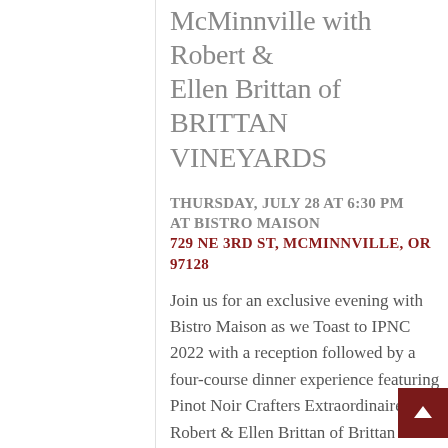McMinnville with Robert & Ellen Brittan of BRITTAN VINEYARDS
THURSDAY, JULY 28 AT 6:30 PM
AT BISTRO MAISON
729 NE 3RD ST, MCMINNVILLE, OR 97128
Join us for an exclusive evening with Bistro Maison as we Toast to IPNC 2022 with a reception followed by a four-course dinner experience featuring Pinot Noir Crafters Extraordinaire, Robert & Ellen Brittan of Brittan Vineyards
$190 including menu, wine selection &